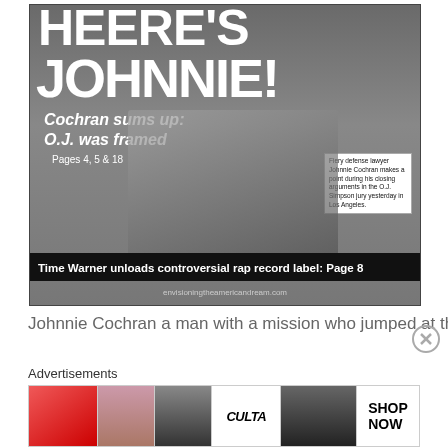[Figure (photo): Newspaper front page showing Johnnie Cochran making a point during closing arguments in the O.J. Simpson trial, with headline 'HERE'S JOHNNIE!', subheadline 'Cochran sums up: O.J. was framed', 'Pages 4, 5 & 18', and bottom bar 'Time Warner unloads controversial rap record label: Page 8'. Website: envisioningtheamericandream.com]
Johnnie Cochran a man with a mission who jumped at the
Advertisements
[Figure (photo): Ulta Beauty advertisement banner with cosmetics imagery and 'SHOP NOW' call to action]